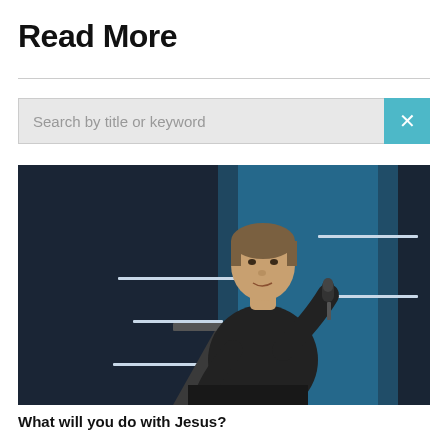Read More
[Figure (photo): A man in a dark ribbed sweater speaking at a podium, holding a microphone, on a stage with blue lighting and geometric background panels.]
What will you do with Jesus?